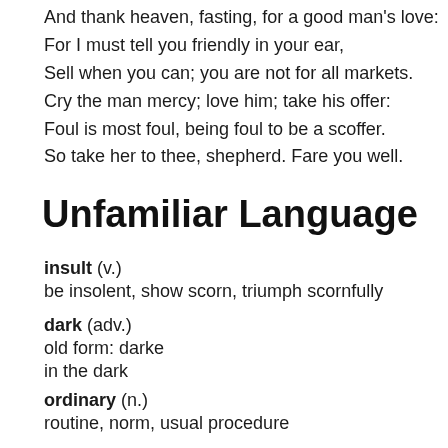And thank heaven, fasting, for a good man's love:
For I must tell you friendly in your ear,
Sell when you can; you are not for all markets.
Cry the man mercy; love him; take his offer:
Foul is most foul, being foul to be a scoffer.
So take her to thee, shepherd. Fare you well.
Unfamiliar Language
insult (v.)
be insolent, show scorn, triumph scornfully
dark (adv.)
old form: darke
in the dark
ordinary (n.)
routine, norm, usual procedure